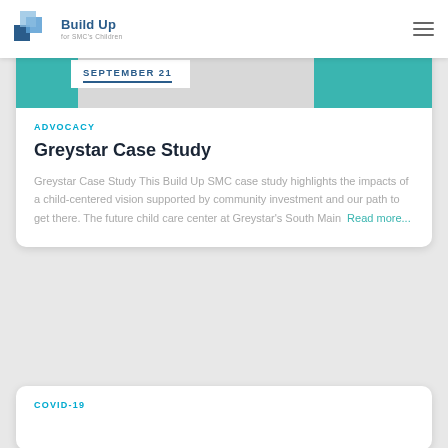Build Up for SMC's Children
[Figure (screenshot): Teal card header image with white date box showing SEPTEMBER 21]
ADVOCACY
Greystar Case Study
Greystar Case Study This Build Up SMC case study highlights the impacts of a child-centered vision supported by community investment and our path to get there. The future child care center at Greystar's South Main Read more…
COVID-19